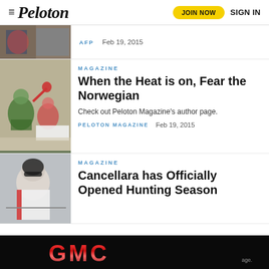Peloton  JOIN NOW  SIGN IN
AFP    Feb 19, 2015
MAGAZINE
When the Heat is on, Fear the Norwegian
Check out Peloton Magazine's author page.
PELOTON MAGAZINE    Feb 19, 2015
MAGAZINE
Cancellara has Officially Opened Hunting Season
[Figure (photo): GMC advertisement banner at bottom of page]